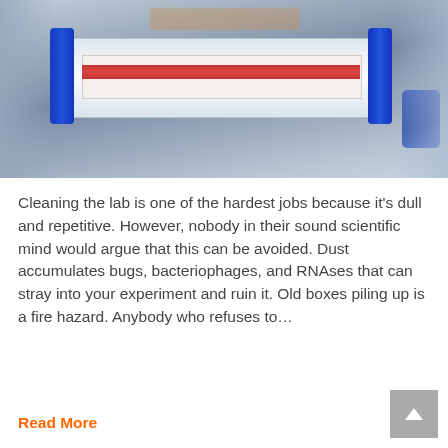[Figure (photo): Close-up photo of laboratory syringes or sample tubes with blue rings and a red-striped label, on a light surface. Slightly blurred/bokeh background suggesting a medical or scientific lab setting.]
Cleaning the lab is one of the hardest jobs because it's dull and repetitive. However, nobody in their sound scientific mind would argue that this can be avoided. Dust accumulates bugs, bacteriophages, and RNAses that can stray into your experiment and ruin it. Old boxes piling up is a fire hazard. Anybody who refuses to…
Read More